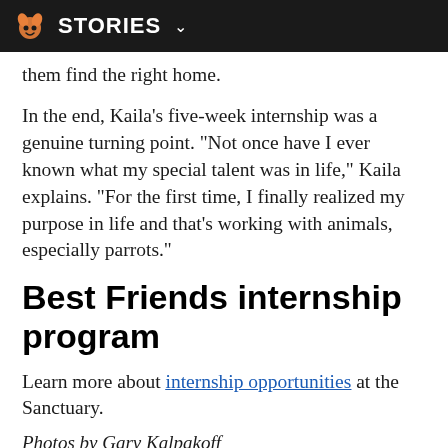STORIES
them find the right home.
In the end, Kaila's five-week internship was a genuine turning point. "Not once have I ever known what my special talent was in life," Kaila explains. "For the first time, I finally realized my purpose in life and that's working with animals, especially parrots."
Best Friends internship program
Learn more about internship opportunities at the Sanctuary.
Photos by Gary Kalpakoff